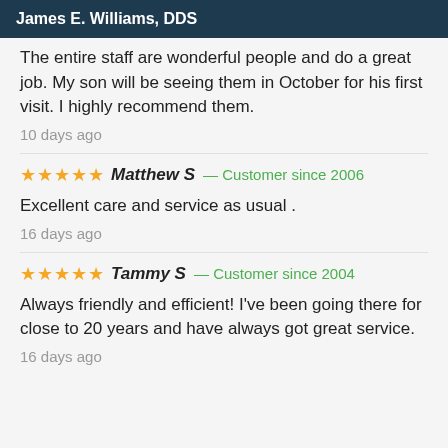James E. Williams, DDS
The entire staff are wonderful people and do a great job. My son will be seeing them in October for his first visit. I highly recommend them.
10 days ago
★★★★★ Matthew S — Customer since 2006
Excellent care and service as usual .
16 days ago
★★★★★ Tammy S — Customer since 2004
Always friendly and efficient! I've been going there for close to 20 years and have always got great service.
16 days ago